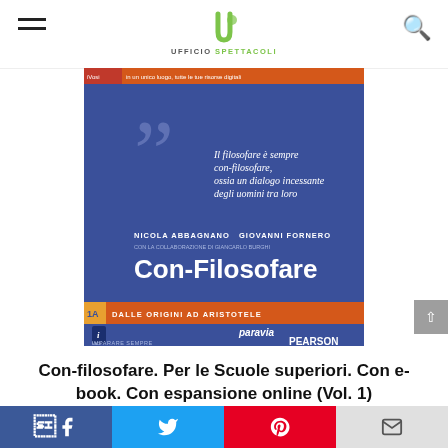UFFICIO SPETTACOLI
[Figure (illustration): Book cover of Con-Filosofare Vol. 1A by Nicola Abbagnano and Giovanni Fornero, published by Paravia/Pearson. Blue cover with large quotation marks graphic and italic quote text, orange band at bottom with '1A DALLE ORIGINI AD ARISTOTELE'.]
Con-filosofare. Per le Scuole superiori. Con e-book. Con espansione online (Vol. 1)
Facebook | Twitter | Pinterest | Email